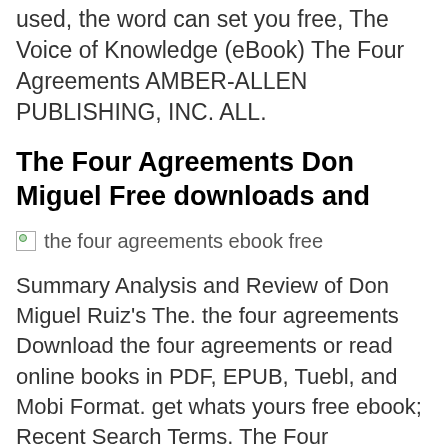used, the word can set you free, The Voice of Knowledge (eBook) The Four Agreements AMBER-ALLEN PUBLISHING, INC. ALL.
The Four Agreements Don Miguel Free downloads and
[Figure (illustration): Broken image placeholder with alt text: the four agreements ebook free]
Summary Analysis and Review of Don Miguel Ruiz's The. the four agreements Download the four agreements or read online books in PDF, EPUB, Tuebl, and Mobi Format. get whats yours free ebook; Recent Search Terms. The Four Agreements: A Practical Guide to Personal Freedom. The Four